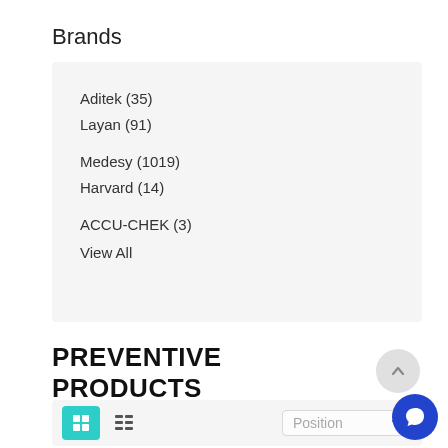Brands
Aditek (35)
Layan (91)
Medesy (1019)
Harvard (14)
ACCU-CHEK (3)
View All
PREVENTIVE PRODUCTS
[Figure (screenshot): Toolbar with grid view button (teal), list view button, and Position dropdown selector]